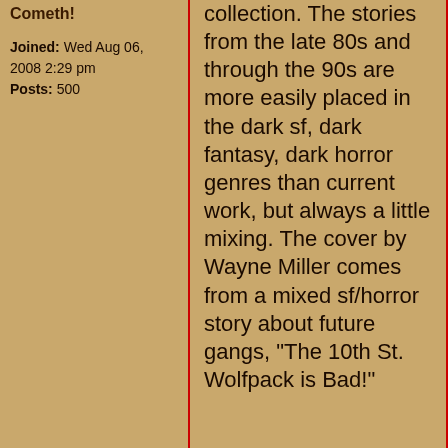Cometh!
Joined: Wed Aug 06, 2008 2:29 pm
Posts: 500
collection. The stories from the late 80s and through the 90s are more easily placed in the dark sf, dark fantasy, dark horror genres than current work, but always a little mixing. The cover by Wayne Miller comes from a mixed sf/horror story about future gangs, "The 10th St. Wolfpack is Bad!"